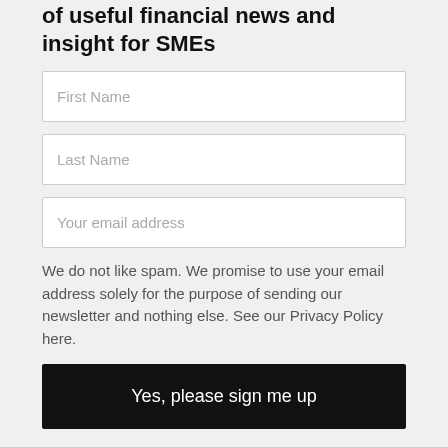of useful financial news and insight for SMEs
First Name
Last Name
Your email address
We do not like spam. We promise to use your email address solely for the purpose of sending our newsletter and nothing else. See our Privacy Policy here.
Yes, please sign me up
Contact